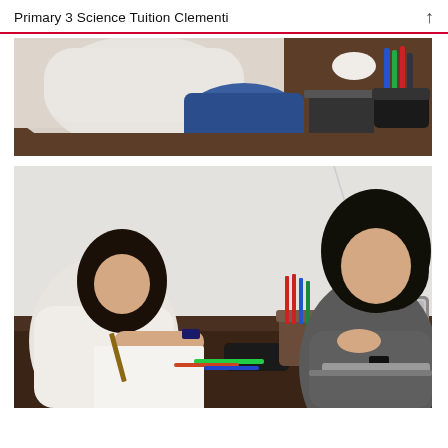Primary 3 Science Tuition Clementi
[Figure (photo): Close-up photo of a student sitting at a wooden desk with school supplies including pens, markers, and a bag, with a blue school bag visible.]
[Figure (photo): A young girl in a white t-shirt writing or drawing at a dark wooden desk across from a female tutor in a grey t-shirt who is speaking and gesturing, with a MacBook laptop and a cup of pens on the desk.]